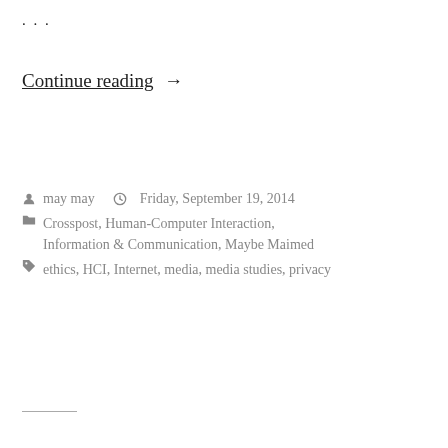...
Continue reading →
may may   Friday, September 19, 2014
Crosspost, Human-Computer Interaction, Information & Communication, Maybe Maimed
ethics, HCI, Internet, media, media studies, privacy